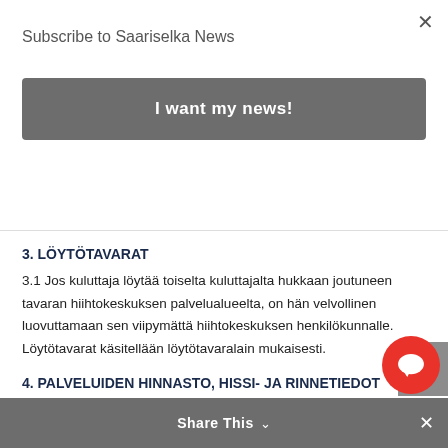Subscribe to Saariselka News
I want my news!
3. LÖYTÖTAVARAT
3.1 Jos kuluttaja löytää toiselta kuluttajalta hukkaan joutuneen tavaran hiihtokeskuksen palvelualueelta, on hän velvollinen luovuttamaan sen viipymättä hiihtokeskuksen henkilökunnalle. Löytötavarat käsitellään löytötavaralain mukaisesti.
4. PALVELUIDEN HINNASTO, HISSI- JA RINNETIEDOT
4.1 Hiihtokeskus on velvollinen julkaisemaan palveluita koskevan hinnaston tai muulla tavalla tiedottamaan hinnoista. Hinnastossa tai tiedotuksessa on esitettävä selkeästi tiedot erilaisten lippujen hinnoista ja voimassaoloajoista.
Share This